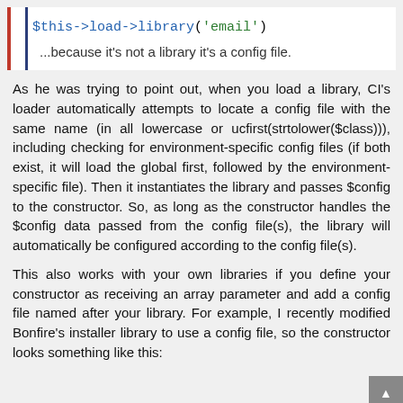[Figure (screenshot): Code block showing: $this->load->library('email') with syntax highlighting, blue for $this->load->library and green for 'email']
...because it's not a library it's a config file.
As he was trying to point out, when you load a library, CI's loader automatically attempts to locate a config file with the same name (in all lowercase or ucfirst(strtolower($class))), including checking for environment-specific config files (if both exist, it will load the global first, followed by the environment-specific file). Then it instantiates the library and passes $config to the constructor. So, as long as the constructor handles the $config data passed from the config file(s), the library will automatically be configured according to the config file(s).
This also works with your own libraries if you define your constructor as receiving an array parameter and add a config file named after your library. For example, I recently modified Bonfire's installer library to use a config file, so the constructor looks something like this: